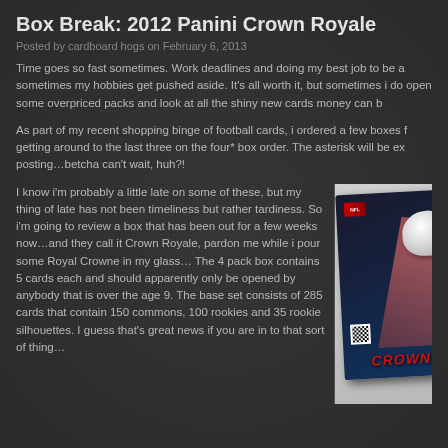Box Break: 2012 Panini Crown Royale
Posted by cardboard hogs on February 6, 2013
Time goes so fast sometimes.  Work deadlines and doing my best job to be a sometimes my hobbies get pushed aside.  It's all worth it, but sometimes i do open some overpriced packs and look at all the shiny new cards money can b
As part of my recent shopping binge of football cards, i ordered a few boxes f getting around to the last three on the four* box order.  The asterisk will be ex posting…betcha can't wait, huh?!
I know i'm probably a little late on some of these, but my thing of late has not been timeliness but rather tardiness.  So i'm going to review a box that has been out for a few weeks now…and they call it Crown Royale, pardon me while i pour some Royal Crowne in my glass… The 4 pack box contains 5 cards each and should apparently only be opened by anybody that is over the age 9.  The base set consists of 285 cards that contain 150 commons, 100 rookies and 35 rookie silhouettes.  I guess that's great news if you are in to that sort of thing…
[Figure (photo): 2012 Panini Crown Royale football card box packaging shown at an angle on a light gray surface, with red CROWNE text visible and Panini logo]